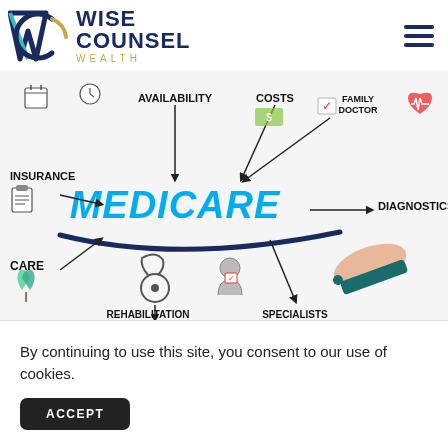Wise Counsel Wealth
[Figure (illustration): Medicare infographic showing a hand writing MEDICARE in blue chalk-style text on a whiteboard, surrounded by labeled arrows pointing to: Availability, Costs, Family Doctor, Diagnostics, Specialists, Rehabilitation, Care, Insurance, with icons including stethoscope, calendar, money, heart monitor, clipboard, and plants.]
By continuing to use this site, you consent to our use of cookies.
ACCEPT